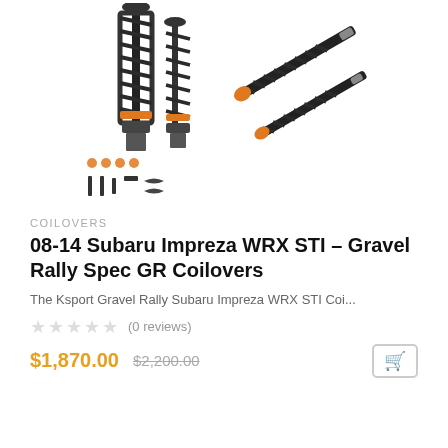[Figure (photo): Product photo of coilover suspension set for Subaru Impreza WRX STI – 4 coilovers with black springs and orange perches, plus hardware components]
COILOVERS
08-14 Subaru Impreza WRX STI – Gravel Rally Spec GR Coilovers
The Ksport Gravel Rally Subaru Impreza WRX STI Coi...
★★★★★ (0 reviews)
$1,870.00  $2,200.00